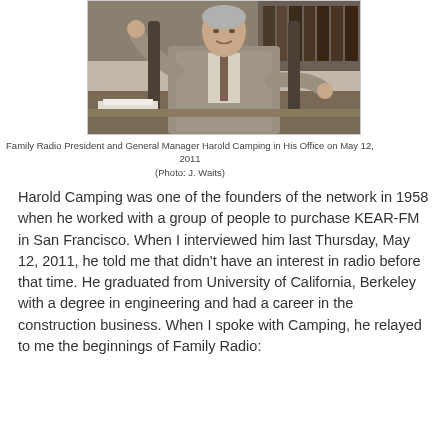[Figure (photo): Man in suit sitting at a desk with hands raised, photographed in an office setting]
Family Radio President and General Manager Harold Camping in His Office on May 12, 2011
(Photo: J. Waits)
Harold Camping was one of the founders of the network in 1958 when he worked with a group of people to purchase KEAR-FM in San Francisco. When I interviewed him last Thursday, May 12, 2011, he told me that didn't have an interest in radio before that time. He graduated from University of California, Berkeley with a degree in engineering and had a career in the construction business. When I spoke with Camping, he relayed to me the beginnings of Family Radio: